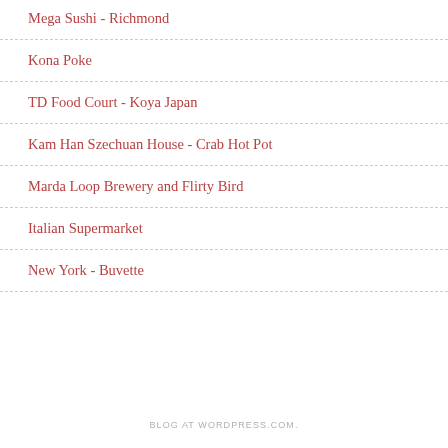Mega Sushi - Richmond
Kona Poke
TD Food Court - Koya Japan
Kam Han Szechuan House - Crab Hot Pot
Marda Loop Brewery and Flirty Bird
Italian Supermarket
New York - Buvette
BLOG AT WORDPRESS.COM.